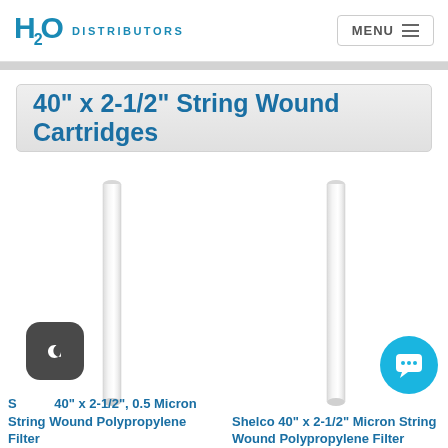H2O Distributors — MENU
40" x 2-1/2" String Wound Cartridges
[Figure (photo): Two white string wound filter cartridges shown side by side, tall and narrow cylindrical shape]
Shelco 40" x 2-1/2", 0.5 Micron String Wound Polypropylene Filter
Shelco 40" x 2-1/2" Micron String Wound Polypropylene Filter